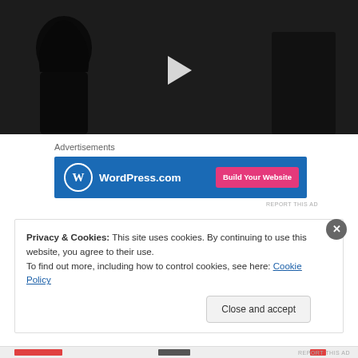[Figure (screenshot): Black and white video thumbnail showing a person silhouette with a white play button triangle in the center]
Advertisements
[Figure (screenshot): WordPress.com advertisement banner with blue background, WordPress logo on left, and pink 'Build Your Website' button on right]
REPORT THIS AD
Privacy & Cookies: This site uses cookies. By continuing to use this website, you agree to their use.
To find out more, including how to control cookies, see here: Cookie Policy
Close and accept